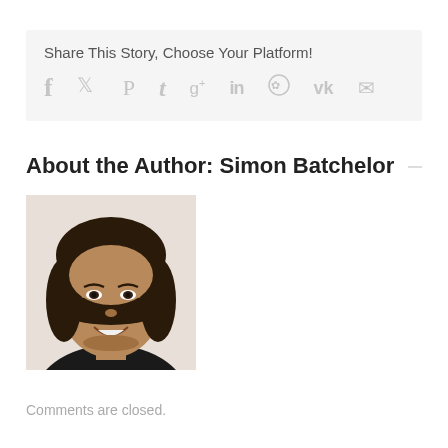Share This Story, Choose Your Platform!
[Figure (infographic): Social media share icons: facebook, twitter, pinterest, tumblr, google+, linkedin, reddit, vk, email]
About the Author: Simon Batchelor
[Figure (photo): Headshot photo of Simon Batchelor, a man with dark medium-length hair, smiling, wearing a dark top]
Comments are closed.